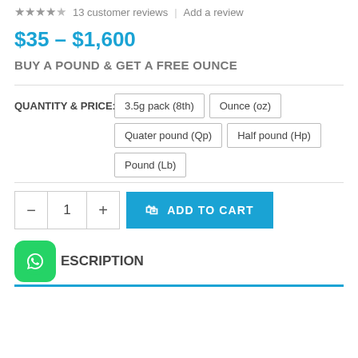13 customer reviews | Add a review
$35 – $1,600
BUY A POUND & GET A FREE OUNCE
QUANTITY & PRICE: 3.5g pack (8th) | Ounce (oz) | Quater pound (Qp) | Half pound (Hp) | Pound (Lb)
1 ADD TO CART
DESCRIPTION